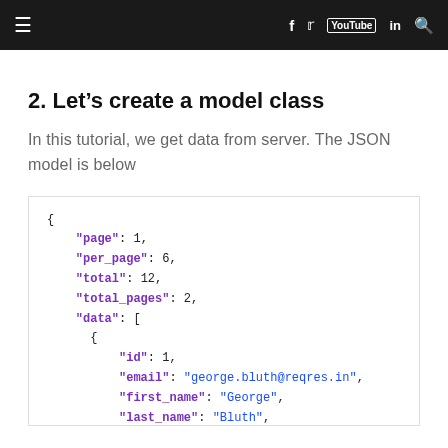≡  f  🐦  ▶  in  🔍
2. Let's create a model class
In this tutorial, we get data from server. The JSON model is below
{
    "page": 1,
    "per_page": 6,
    "total": 12,
    "total_pages": 2,
    "data": [
      {
          "id": 1,
          "email": "george.bluth@reqres.in",
          "first_name": "George",
          "last_name": "Bluth",
          "avatar": "https://s3.amazonaws.com/u
      },
      {
          "id": 2,